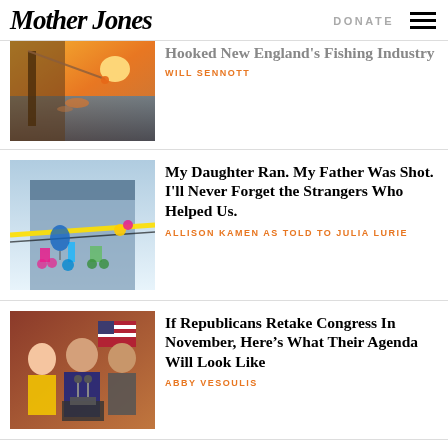Mother Jones | DONATE
[Figure (photo): Fishing scene with warm sunset light, fish and nets]
Hooked New England's Fishing Industry
WILL SENNOTT
[Figure (photo): Crime scene with yellow tape, children's bikes and chairs on a city plaza]
My Daughter Ran. My Father Was Shot. I'll Never Forget the Strangers Who Helped Us.
ALLISON KAMEN AS TOLD TO JULIA LURIE
[Figure (photo): Republican politicians at a press conference with American flags]
If Republicans Retake Congress In November, Here's What Their Agenda Will Look Like
ABBY VESOULIS